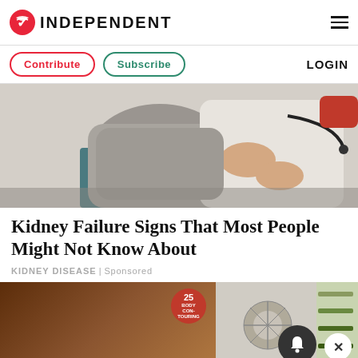INDEPENDENT
[Figure (photo): Doctor in white coat examining a patient's back/kidney area, pressing hands on the patient's lower back. Patient is wearing a grey shirt.]
Kidney Failure Signs That Most People Might Not Know About
KIDNEY DISEASE | Sponsored
[Figure (photo): Advertisement image showing body contouring machine, with a badge reading '25 BODY CONTOURING', partially visible. A bell notification icon and close (X) button are overlaid.]